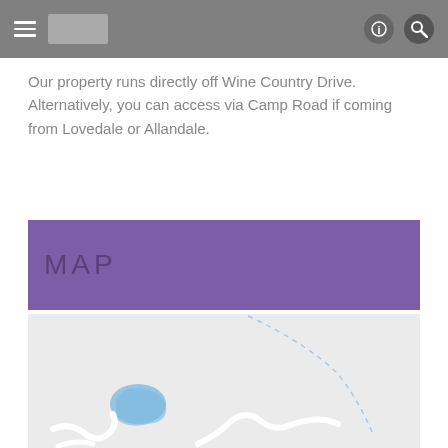Our property runs directly off Wine Country Drive. Alternatively, you can access via Camp Road if coming from Lovedale or Allandale.
MAP
[Figure (map): A light-grey map showing roads and a small blue water body (pond/lake). A dashed blue line curves from top-center toward the right. White road paths wind through the lower portion of the map.]